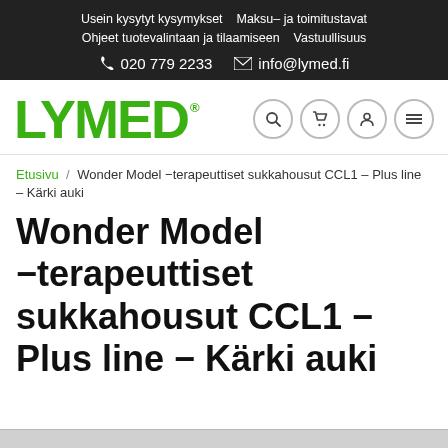Usein kysytyt kysymykset   Maksu- ja toimitustavat   Ohjeet tuotevalintaan ja tilaamiseen   Vastuullisuus
☏ 020 779 2233   ✉ info@lymed.fi
[Figure (logo): LYMED logo in green with registered trademark symbol, followed by navigation icons (search, cart, account, menu)]
Etusivu / Wonder Model -terapeuttiset sukkahousut CCL1 – Plus line – Kärki auki
Wonder Model −terapeuttiset sukkahousut CCL1 − Plus line − Kärki auki